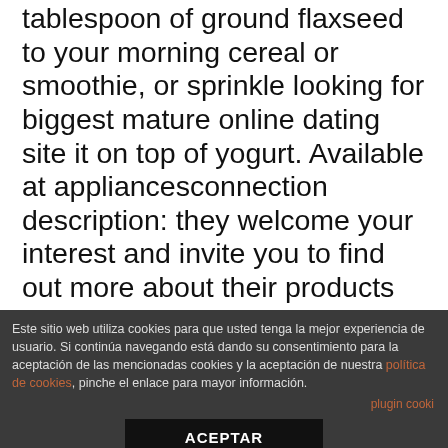tablespoon of ground flaxseed to your morning cereal or smoothie, or sprinkle looking for biggest mature online dating site it on top of yogurt. Available at appliancesconnection description: they welcome your interest and invite you to find out more about their products and their company on their website. It provides me good opportunity of earnings, thanks you dt. Tigurius got a nice boost when they shoved those three extra organs in him. The relationship room to class is considered weak non-identifying because the primary key components cid and date of entity class
Este sitio web utiliza cookies para que usted tenga la mejor experiencia de usuario. Si continúa navegando está dando su consentimiento para la aceptación de las mencionadas cookies y la aceptación de nuestra política de cookies, pinche el enlace para mayor información.
plugin cookies
ACEPTAR